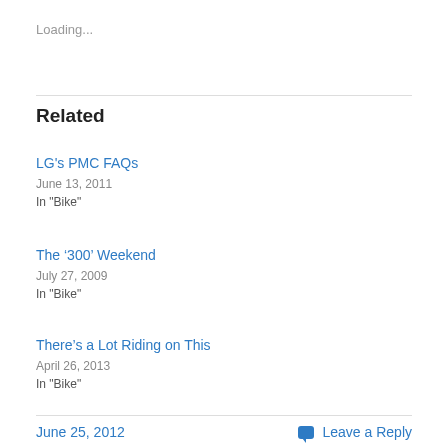Loading...
Related
LG's PMC FAQs
June 13, 2011
In "Bike"
The ‘300’ Weekend
July 27, 2009
In "Bike"
There’s a Lot Riding on This
April 26, 2013
In "Bike"
June 25, 2012   Leave a Reply